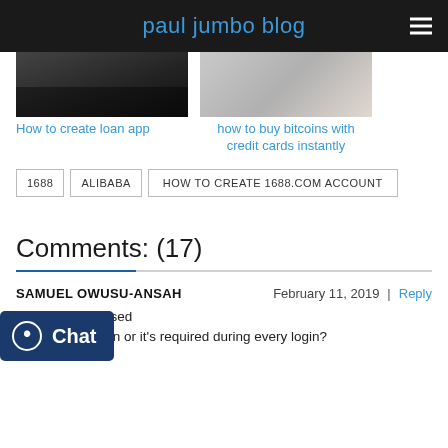paul jumbo blog
[Figure (photo): Two thumbnail images: left shows a dark/loan app theme, right shows hands with credit card]
How to create loan app
how to buy bitcoins with credit cards instantly
1688
ALIBABA
HOW TO CREATE 1688.COM ACCOUNT
Comments: (17)
SAMUEL OWUSU-ANSAH   February 11, 2019  |  Reply
...one number used for a one time pin or it's required during every login?